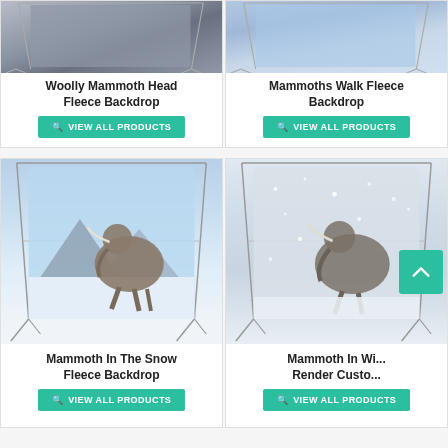[Figure (photo): Woolly Mammoth Head Fleece Backdrop product photo showing backdrop on stand]
Woolly Mammoth Head Fleece Backdrop
VIEW ALL PRODUCTS
[Figure (photo): Mammoths Walk Fleece Backdrop product photo showing backdrop on stand]
Mammoths Walk Fleece Backdrop
VIEW ALL PRODUCTS
[Figure (photo): Mammoth In The Snow Fleece Backdrop product photo showing mammoth in snowy landscape on backdrop stand]
Mammoth In The Snow Fleece Backdrop
VIEW ALL PRODUCTS
[Figure (photo): Mammoth In Winter Render Custom backdrop product photo on stand with snowy glitter effect]
Mammoth In Wi... Render Custo...
VIEW ALL PRODUCTS